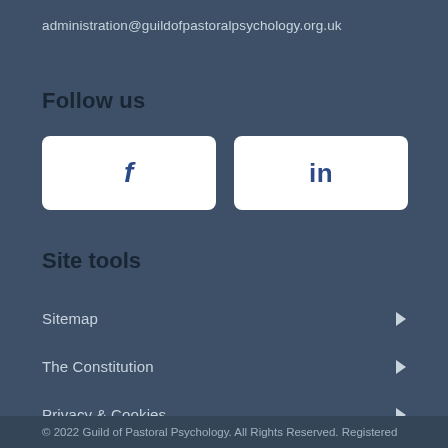administration@guildofpastoralpsychology.org.uk
Follow us
[Figure (other): Facebook and LinkedIn social media buttons side by side on white rounded rectangles with dark blue icons]
Site tools
Sitemap
The Constitution
Privacy & Cookies
© 2022 Guild of Pastoral Psychology. All Rights Reserved. Registered